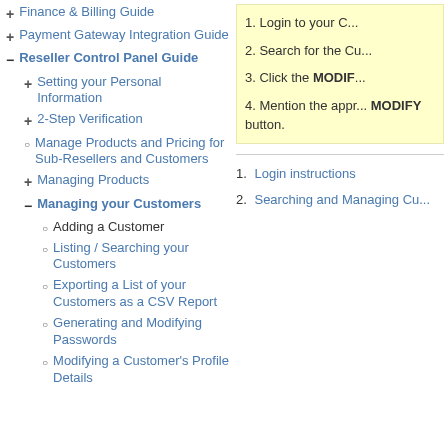+ Finance & Billing Guide
+ Payment Gateway Integration Guide
- Reseller Control Panel Guide
+ Setting your Personal Information
+ 2-Step Verification
o Manage Products and Pricing for Sub-Resellers and Customers
+ Managing Products
- Managing your Customers
o Adding a Customer
o Listing / Searching your Customers
o Exporting a List of your Customers as a CSV Report
o Generating and Modifying Passwords
o Modifying a Customer's Profile Details
2. Search for the Cu...
3. Click the MODIFY...
4. Mention the appr... MODIFY button.
1. Login instructions
2. Searching and Managing Cu...